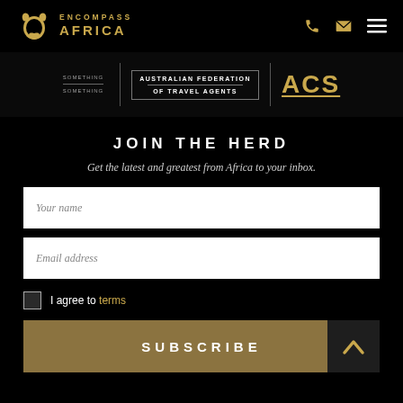[Figure (logo): Encompass Africa logo with decorative elephant/swirl icon in gold and text ENCOMPASS AFRICA]
[Figure (infographic): Navigation header icons: phone, email envelope, hamburger menu in gold on black background]
[Figure (logo): Accreditation badges strip: partially visible first badge, AUSTRALIAN FEDERATION OF TRAVEL AGENTS badge with border, and ACS text in gold]
JOIN THE HERD
Get the latest and greatest from Africa to your inbox.
Your name
Email address
I agree to terms
SUBSCRIBE